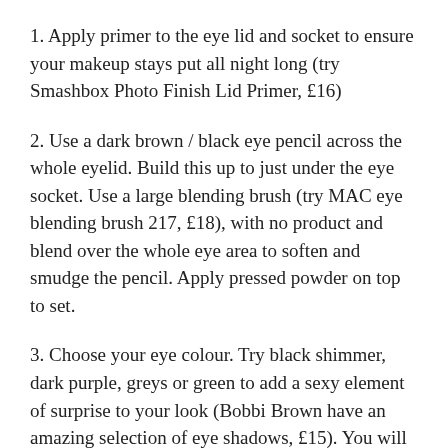1. Apply primer to the eye lid and socket to ensure your makeup stays put all night long (try Smashbox Photo Finish Lid Primer, £16)
2. Use a dark brown / black eye pencil across the whole eyelid. Build this up to just under the eye socket. Use a large blending brush (try MAC eye blending brush 217, £18), with no product and blend over the whole eye area to soften and smudge the pencil. Apply pressed powder on top to set.
3. Choose your eye colour. Try black shimmer, dark purple, greys or green to add a sexy element of surprise to your look (Bobbi Brown have an amazing selection of eye shadows, £15). You will need a dark and medium version of your chosen colour. Add the dark version to your whole eyelid and also underneath